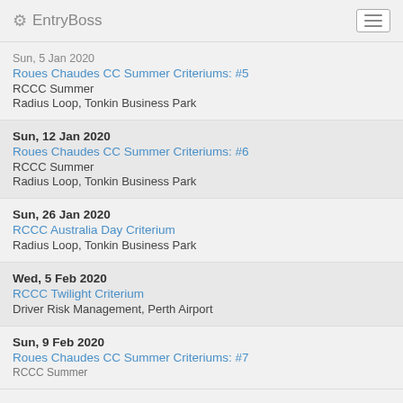EntryBoss
Sun, 5 Jan 2020
Roues Chaudes CC Summer Criteriums: #5
RCCC Summer
Radius Loop, Tonkin Business Park
Sun, 12 Jan 2020
Roues Chaudes CC Summer Criteriums: #6
RCCC Summer
Radius Loop, Tonkin Business Park
Sun, 26 Jan 2020
RCCC Australia Day Criterium
Radius Loop, Tonkin Business Park
Wed, 5 Feb 2020
RCCC Twilight Criterium
Driver Risk Management, Perth Airport
Sun, 9 Feb 2020
Roues Chaudes CC Summer Criteriums: #7
RCCC Summer